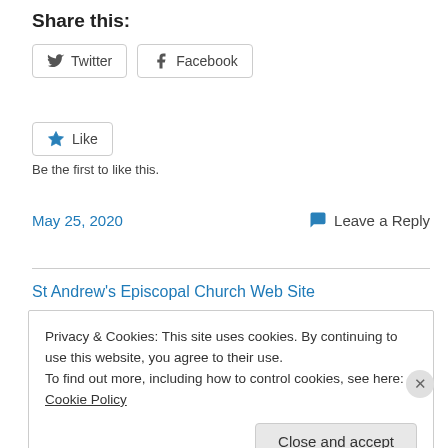Share this:
[Figure (infographic): Twitter and Facebook social share buttons with icons]
[Figure (infographic): Like button with star icon]
Be the first to like this.
May 25, 2020
Leave a Reply
St Andrew's Episcopal Church Web Site
Privacy & Cookies: This site uses cookies. By continuing to use this website, you agree to their use.
To find out more, including how to control cookies, see here: Cookie Policy
Close and accept